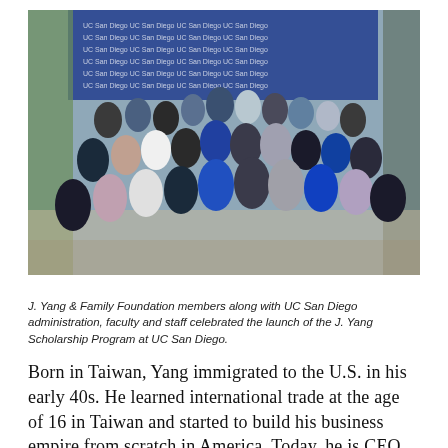[Figure (photo): Group photo of J. Yang & Family Foundation members along with UC San Diego administration, faculty and staff at an outdoor event, with a UC San Diego branded banner backdrop.]
J. Yang & Family Foundation members along with UC San Diego administration, faculty and staff celebrated the launch of the J. Yang Scholarship Program at UC San Diego.
Born in Taiwan, Yang immigrated to the U.S. in his early 40s. He learned international trade at the age of 16 in Taiwan and started to build his business empire from scratch in America. Today, he is CEO of Seville Classics, Inc., a leading innovator in home organization and garage storage solutions, and chairman of First General Bank